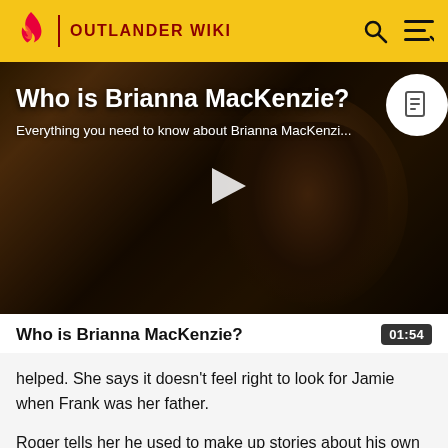OUTLANDER WIKI
[Figure (screenshot): Video thumbnail showing a woman with long dark hair in a dark indoor setting. Title overlay reads 'Who is Brianna MacKenzie?' with subtitle 'Everything you need to know about Brianna MacKenzi...' and a play button in the center.]
Who is Brianna MacKenzie?
helped. She says it doesn't feel right to look for Jamie when Frank was her father.
Roger tells her he used to make up stories about his own...